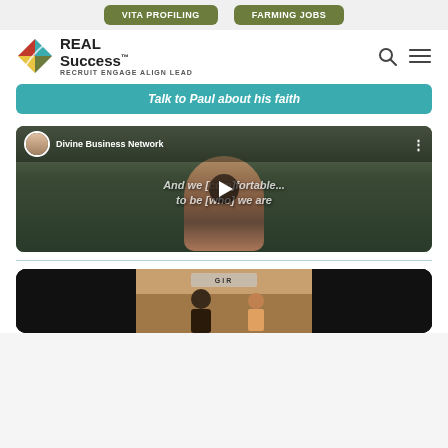[Figure (screenshot): Top navigation bar with two olive-green buttons labeled VITA PROFILING and FARMING JOBS]
[Figure (logo): REAL Success logo with colorful diamond-shaped icon and tagline RECRUIT ENGAGE ALIGN LEAD, with search and menu icons]
[Figure (screenshot): Teal button with italic text Talk to Paul about his faith]
[Figure (screenshot): YouTube-style embedded video thumbnail showing Divine Business Network with a person in plaid shirt and text And we [are com]fortable... to be [who] we are, with play button overlay]
[Figure (screenshot): Second video thumbnail partially visible at the bottom, showing a person in a room]